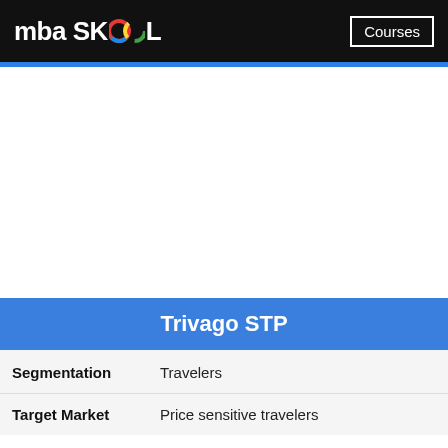mba SKOOL   Courses
Trivago STP
| Field | Value |
| --- | --- |
| Segmentation | Travelers |
| Target Market | Price sensitive travelers |